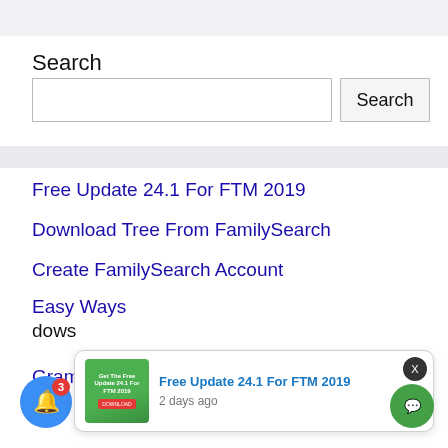Search
Search [input field]
Free Update 24.1 For FTM 2019
Download Tree From FamilySearch
Create FamilySearch Account
Easy Ways ... dows
Gramps Genealogy Software [2022]
[Figure (infographic): Notification popup card showing 'Free Update 24.1 For FTM 2019' with thumbnail image and '2 days ago' timestamp. Blue notification bell icon with red badge showing 3. X close button. Green chat button bottom right.]